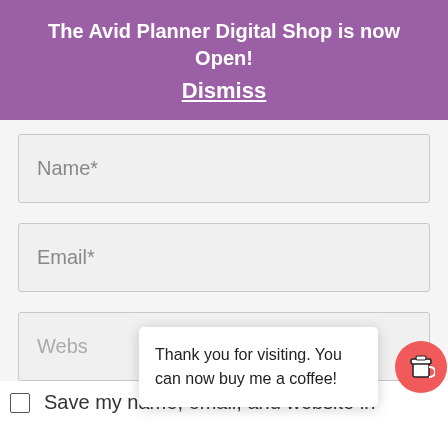The Avid Planner Digital Shop is now Open!
Dismiss
Name*
Email*
Webs
Thank you for visiting. You can now buy me a coffee!
Save my name, email, and website in